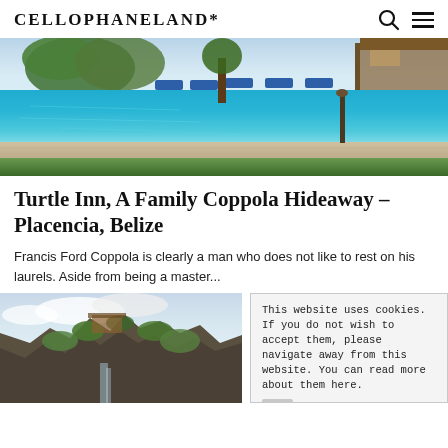CELLOPHANELAND*
[Figure (photo): Outdoor swimming pool with blue lounge chairs and tropical trees, wooden resort buildings in background, green lawn surrounding pool area]
Turtle Inn, A Family Coppola Hideaway – Placencia, Belize
Francis Ford Coppola is clearly a man who does not like to rest on his laurels. Aside from being a master...
[Figure (photo): Dramatic rocky cliff face with lush green vegetation and a structure visible at the top, stormy sky in background]
This website uses cookies. If you do not wish to accept them, please navigate away from this website. You can read more about them here.